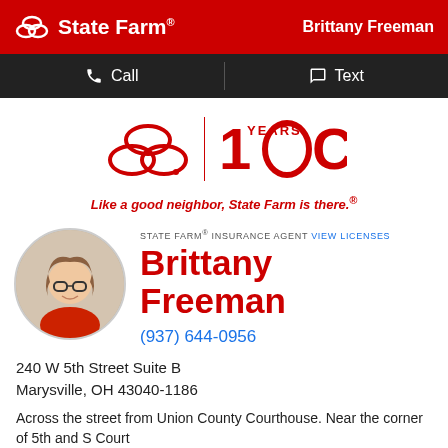State Farm — Brittany Freeman
[Figure (logo): State Farm 100 Years logo with three ovals emblem and tagline]
Like a good neighbor, State Farm is there.®
[Figure (photo): Circular profile photo of Brittany Freeman, female insurance agent wearing a red jacket and glasses]
STATE FARM® INSURANCE AGENT VIEW LICENSES
Brittany Freeman
(937) 644-0956
240 W 5th Street Suite B
Marysville, OH 43040-1186
Across the street from Union County Courthouse. Near the corner of 5th and S Court